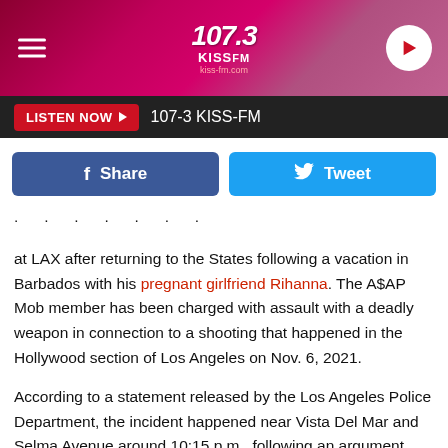[Figure (screenshot): 107.3 KISS-FM radio station header banner with pink/magenta gradient background, hamburger menu icon on left, 107.3 KISS FM logo in center, play button circle on right]
LISTEN NOW ▶  107-3 KISS-FM
[Figure (screenshot): Social sharing buttons row: blue Facebook Share button and cyan Twitter Tweet button]
at LAX after returning to the States following a vacation in Barbados with his pregnant girlfriend Rihanna. The A$AP Mob member has been charged with assault with a deadly weapon in connection to a shooting that happened in the Hollywood section of Los Angeles on Nov. 6, 2021.
According to a statement released by the Los Angeles Police Department, the incident happened near Vista Del Mar and Selma Avenue around 10:15 p.m., following an argument between two "acquaintances."